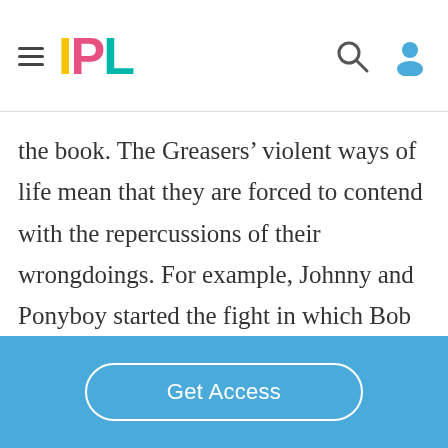IPL
the book. The Greasers’ violent ways of life mean that they are forced to contend with the repercussions of their wrongdoings. For example, Johnny and Ponyboy started the fight in which Bob was killed by being verbally aggressive. This illustrates how Ponyboy let the Socs provoke him and then tried to insult them, calling the Socs “white
Get Access